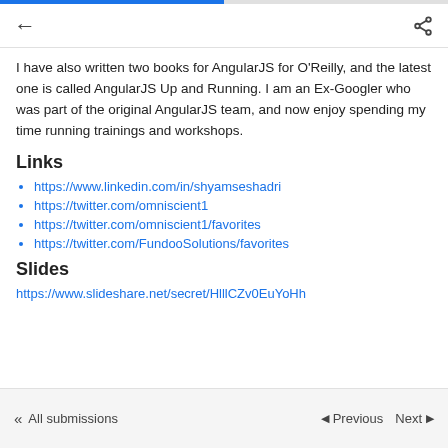← (back) share icon
I have also written two books for AngularJS for O'Reilly, and the latest one is called AngularJS Up and Running. I am an Ex-Googler who was part of the original AngularJS team, and now enjoy spending my time running trainings and workshops.
Links
https://www.linkedin.com/in/shyamseshadri
https://twitter.com/omniscient1
https://twitter.com/omniscient1/favorites
https://twitter.com/FundooSolutions/favorites
Slides
https://www.slideshare.net/secret/HlllCZv0EuYoHh
« All submissions ◄ Previous Next ►